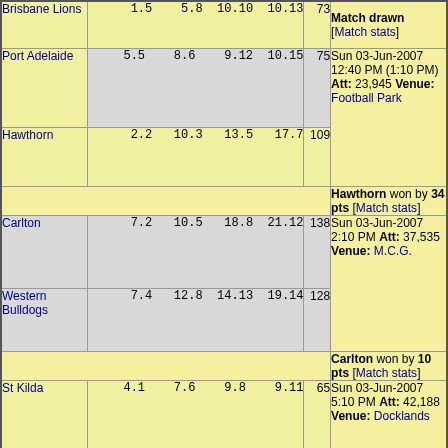| Team | Q1 | Q2 | Q3 | Q4 | Total | Result |
| --- | --- | --- | --- | --- | --- | --- |
| Brisbane Lions | 1.5 | 5.8 | 10.10 | 10.13 | 73 | Match drawn [Match stats] |
| Port Adelaide | 5.5 | 8.6 | 9.12 | 10.15 | 75 | Sun 03-Jun-2007 12:40 PM (1:10 PM) Att: 23,945 Venue: Football Park |
| Hawthorn | 2.2 | 10.3 | 13.5 | 17.7 | 109 | Hawthorn won by 34 pts [Match stats] |
| Carlton | 7.2 | 10.5 | 18.8 | 21.12 | 138 | Sun 03-Jun-2007 2:10 PM Att: 37,535 Venue: M.C.G. |
| Western Bulldogs | 7.4 | 12.8 | 14.13 | 19.14 | 128 | Carlton won by 10 pts [Match stats] |
| St Kilda | 4.1 | 7.6 | 9.8 | 9.11 | 65 | Sun 03-Jun-2007 5:10 PM Att: 42,188 Venue: Docklands |
| Geelong | 7.2 | 10.5 | 15.8 | 19.11 | 125 | Geelong won by 60 pts [Match stats] |
[Top]